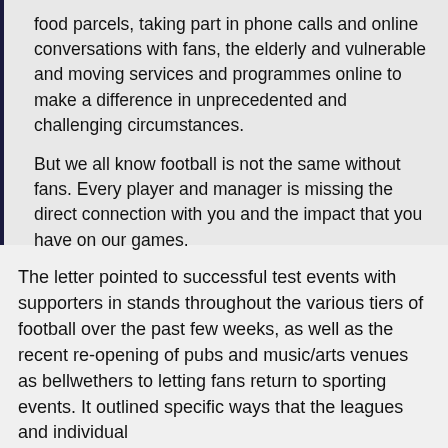food parcels, taking part in phone calls and online conversations with fans, the elderly and vulnerable and moving services and programmes online to make a difference in unprecedented and challenging circumstances.
But we all know football is not the same without fans. Every player and manager is missing the direct connection with you and the impact that you have on our games.
The letter pointed to successful test events with supporters in stands throughout the various tiers of football over the past few weeks, as well as the recent re-opening of pubs and music/arts venues as bellwethers to letting fans return to sporting events. It outlined specific ways that the leagues and individual